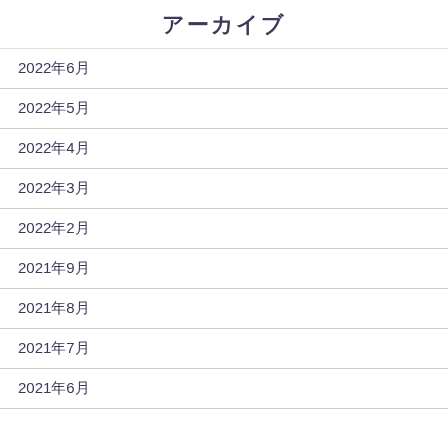アーカイブ
2022年6月
2022年5月
2022年4月
2022年3月
2022年2月
2021年9月
2021年8月
2021年7月
2021年6月